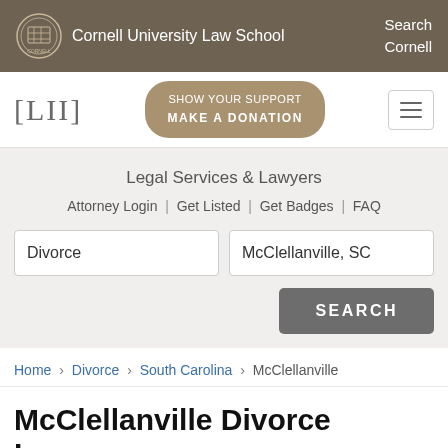Cornell University Law School | Search Cornell
[Figure (logo): LII logo with [LII] bracket text and Show Your Support Make a Donation button]
Legal Services & Lawyers
Attorney Login | Get Listed | Get Badges | FAQ
Search fields: Divorce | McClellanville, SC | SEARCH button
Home › Divorce › South Carolina › McClellanville
McClellanville Divorce Lawyers